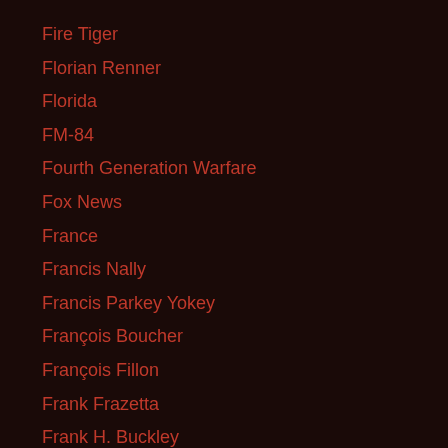Fire Tiger
Florian Renner
Florida
FM-84
Fourth Generation Warfare
Fox News
France
Francis Nally
Francis Parkey Yokey
François Boucher
François Fillon
Frank Frazetta
Frank H. Buckley
Frank Lloyd Wright